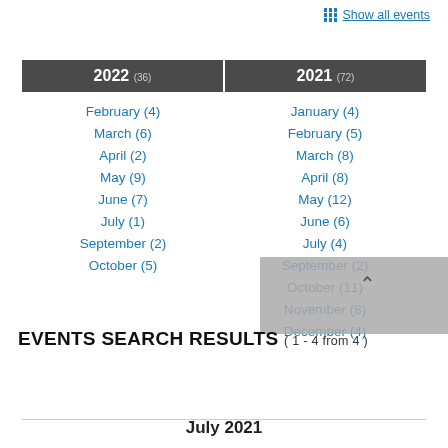Show all events
| 2022 (36) | 2021 (72) |
| --- | --- |
| February (4) | January (4) |
| March (6) | February (5) |
| April (2) | March (8) |
| May (9) | April (8) |
| June (7) | May (12) |
| July (1) | June (6) |
| September (2) | July (4) |
| October (5) | September (2) |
|  | October (11) |
|  | November (8) |
|  | December (4) |
EVENTS SEARCH RESULTS ( 1 - 4 from 4 )
July 2021